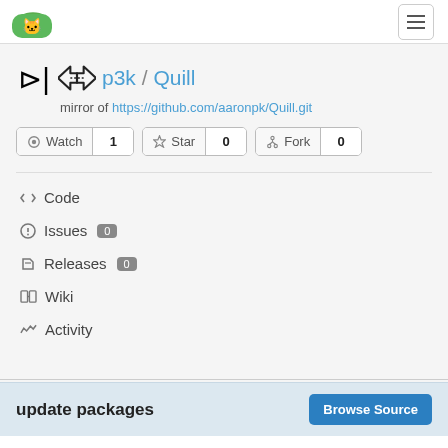Gitea logo | hamburger menu
p3k / Quill
mirror of https://github.com/aaronpk/Quill.git
Watch 1 | Star 0 | Fork 0
Code
Issues 0
Releases 0
Wiki
Activity
update packages
Browse Source